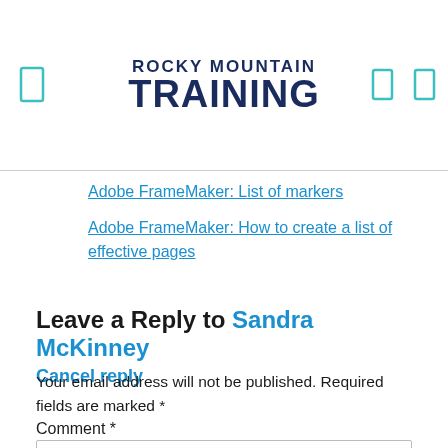ROCKY MOUNTAIN TRAINING
Adobe FrameMaker: List of markers
Adobe FrameMaker: How to create a list of effective pages
Leave a Reply to Sandra McKinney
Cancel reply
Your email address will not be published. Required fields are marked *
Comment *